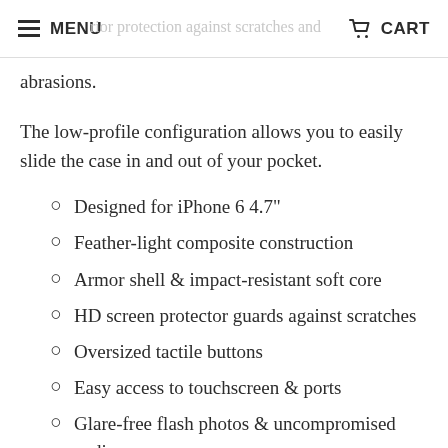MENU | [ghost: rior protection against scratches and] | CART
abrasions.
The low-profile configuration allows you to easily slide the case in and out of your pocket.
Designed for iPhone 6 4.7"
Feather-light composite construction
Armor shell & impact-resistant soft core
HD screen protector guards against scratches
Oversized tactile buttons
Easy access to touchscreen & ports
Glare-free flash photos & uncompromised audio
Scratch resistant skid pads & screen surround